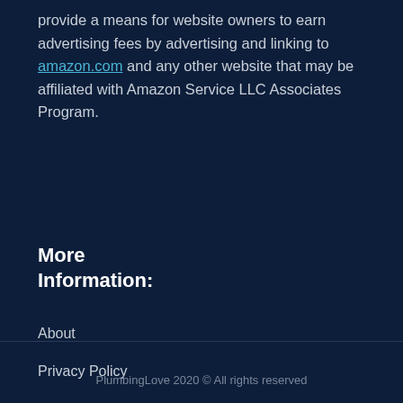provide a means for website owners to earn advertising fees by advertising and linking to amazon.com and any other website that may be affiliated with Amazon Service LLC Associates Program.
More Information:
About
Privacy Policy
Free Repair Quote
Contact
PlumbingLove 2020 © All rights reserved